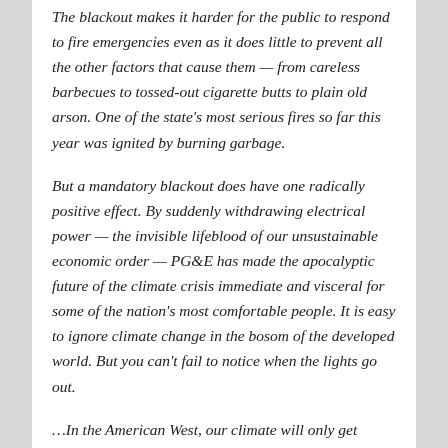The blackout makes it harder for the public to respond to fire emergencies even as it does little to prevent all the other factors that cause them — from careless barbecues to tossed-out cigarette butts to plain old arson. One of the state's most serious fires so far this year was ignited by burning garbage.
But a mandatory blackout does have one radically positive effect. By suddenly withdrawing electrical power — the invisible lifeblood of our unsustainable economic order — PG&E has made the apocalyptic future of the climate crisis immediate and visceral for some of the nation's most comfortable people. It is easy to ignore climate change in the bosom of the developed world. But you can't fail to notice when the lights go out.
…In the American West, our climate will only get hotter and drier, our wildfires worse. Every year more places are going to burn, and we will…